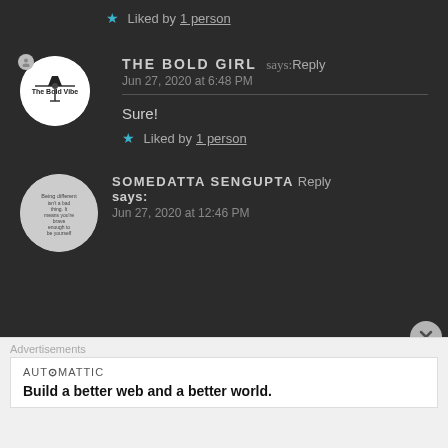★ Liked by 1 person
THE BOLD GIRL says: Reply
Jun 27, 2020 at 6:48 PM
Sure!
★ Liked by 1 person
SOMEDATTA SENGUPTA Reply says:
Jun 27, 2020 at 12:46 PM
Advertisements
AUTOMATTIC
Build a better web and a better world.